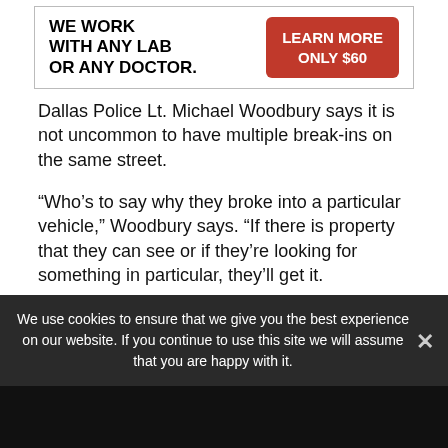[Figure (other): Advertisement banner: 'WE WORK WITH ANY LAB OR ANY DOCTOR.' with a red button reading 'LEARN MORE ONLY $60']
Dallas Police Lt. Michael Woodbury says it is not uncommon to have multiple break-ins on the same street.
“Who’s to say why they broke into a particular vehicle,” Woodbury says. “If there is property that they can see or if they’re looking for something in particular, they’ll get it.
“The best thing to do is park the car in the garage,” Woodbury says. “Unfortunately, a lot
We use cookies to ensure that we give you the best experience on our website. If you continue to use this site we will assume that you are happy with it.